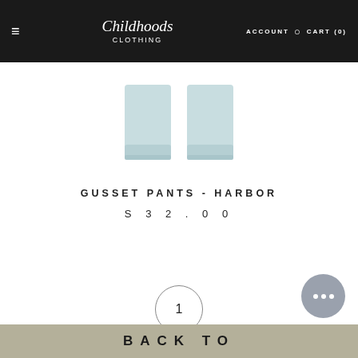≡  Childhoods Clothing  ACCOUNT  🔍  CART (0)
[Figure (photo): Bottom portion of light blue/mint colored pants (Gusset Pants - Harbor), showing cuffs against white background]
GUSSET PANTS - HARBOR
S 32.00
1
BACK TO